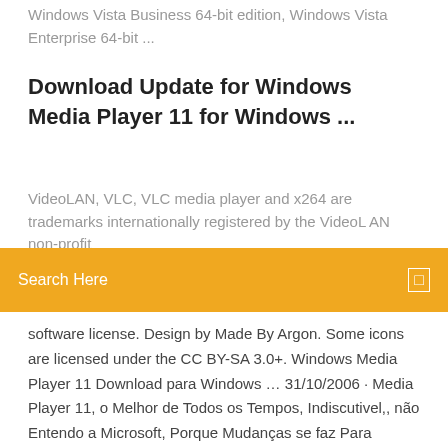Windows Vista Business 64-bit edition, Windows Vista Enterprise 64-bit ...
Download Update for Windows Media Player 11 for Windows ...
VideoLAN, VLC, VLC media player and x264 are trademarks internationally registered by the VideoLAN non-profit
Search Here
software license. Design by Made By Argon. Some icons are licensed under the CC BY-SA 3.0+. Windows Media Player 11 Download para Windows … 31/10/2006 · Media Player 11, o Melhor de Todos os Tempos, Indiscutivel,, não Entendo a Microsoft, Porque Mudanças se faz Para melhor, mas nesse Caso já que nunca Conseguiram fazer outro melhor, então em Time que esta ganhando não se mexe ! ,, na minha Opnião deveria ter Continuou ele nos Window seguintes ! media player 10 or 11 with 32 bit xp with sp3 - … 28/04/2020 · media player